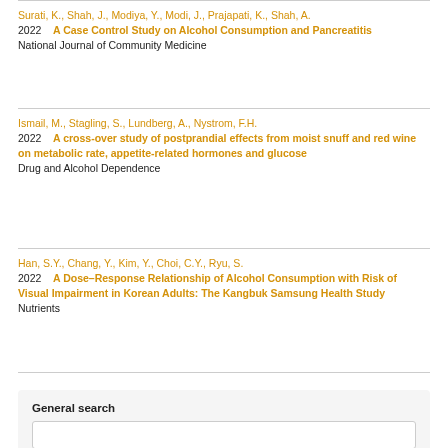Surati, K., Shah, J., Modiya, Y., Modi, J., Prajapati, K., Shah, A.
2022    A Case Control Study on Alcohol Consumption and Pancreatitis
National Journal of Community Medicine
Ismail, M., Stagling, S., Lundberg, A., Nystrom, F.H.
2022    A cross-over study of postprandial effects from moist snuff and red wine on metabolic rate, appetite-related hormones and glucose
Drug and Alcohol Dependence
Han, S.Y., Chang, Y., Kim, Y., Choi, C.Y., Ryu, S.
2022    A Dose–Response Relationship of Alcohol Consumption with Risk of Visual Impairment in Korean Adults: The Kangbuk Samsung Health Study
Nutrients
General search